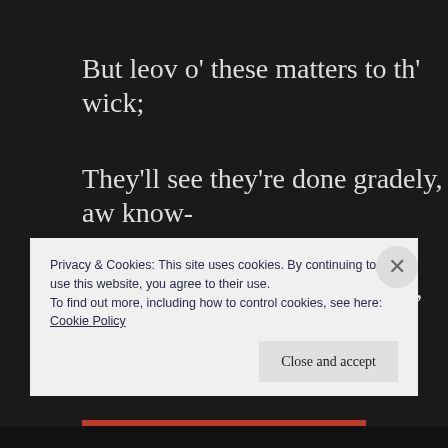But leov o' these matters to th' wick;
They'll see they're done gradely, aw know-
Dos't' yer what aw say to thee, Dick?
The Legend Fades
After hearing about Dicky a few times, I grew curious and went to visit the skull myself. I
Privacy & Cookies: This site uses cookies. By continuing to use this website, you agree to their use.
To find out more, including how to control cookies, see here:
Cookie Policy
Close and accept